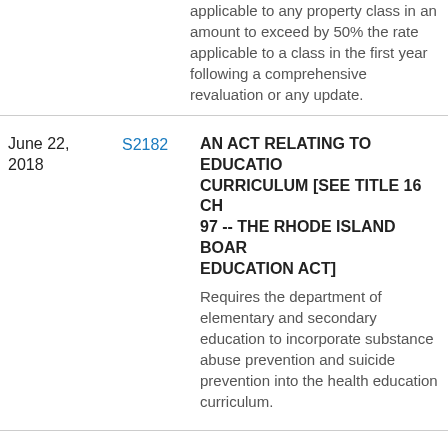applicable to any property class in an amount to exceed by 50% the rate applicable to a class in the first year following a comprehensive revaluation or any update.
| Date | Bill | Description |
| --- | --- | --- |
| June 22, 2018 | S2182 | AN ACT RELATING TO EDUCATION CURRICULUM [SEE TITLE 16 CHAPTER 97 -- THE RHODE ISLAND BOARD OF EDUCATION ACT]
Requires the department of elementary and secondary education to incorporate substance abuse prevention and suicide prevention into the health education curriculum. |
| June 22, 2018 | S2426 | AN ACT RELATING TO MOTOR AND OTHER VEHICLES - UNINSURED MOTORIST IDENTIFICATION DATABASE PROCEDURE
Mandates each motor vehicle policy insurer to provide a weekly record of each policy to... |